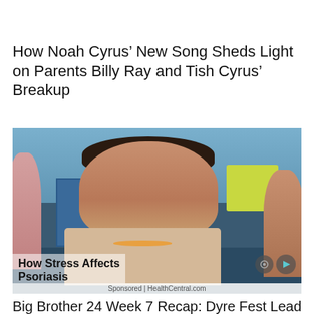How Noah Cyrus’ New Song Sheds Light on Parents Billy Ray and Tish Cyrus’ Breakup
[Figure (photo): A young man in a beige tank top with a gold necklace, looking seriously at something off-camera, in what appears to be a reality TV show setting with blue crates and green/yellow items in the background. An advertisement overlay reads 'How Stress Affects Psoriasis' sponsored by HealthCentral.com.]
Sponsored | HealthCentral.com
Big Brother 24 Week 7 Recap: Dyre Fest Leads To A